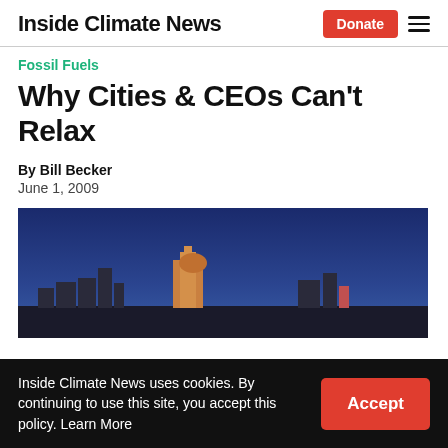Inside Climate News
Fossil Fuels
Why Cities & CEOs Can't Relax
By Bill Becker
June 1, 2009
[Figure (photo): City skyline silhouetted against a deep blue dusk/night sky, with buildings lit in warm orange tones]
Inside Climate News uses cookies. By continuing to use this site, you accept this policy. Learn More